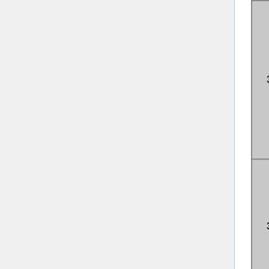| # | Title | Author(s) | Organization |
| --- | --- | --- | --- |
| 3-30 | 2D Periodic Hill Flow ★ | Breuer, Michael Manhart, Nikolaus Peller | Münc... Unive... |
| 3-31 | Flow over curved backward-facing step ★ | Sylvain Lardeau | CD-a... |
| 3-32 | Planar shock-wave boundary-layer interaction ★ | Jean-Paul Dussauge, P. Dupont, N. Sandham, E. Garnier | Aix-M... Centr... Rech... 7343, South... |
| 3-33 | Turbulent flow past a smooth and rigid wall-mounted | Jean-Paul Dussauge, P. Dupont, N. Sandham,... | Aix-M... Centr... Rech... 7343,... |